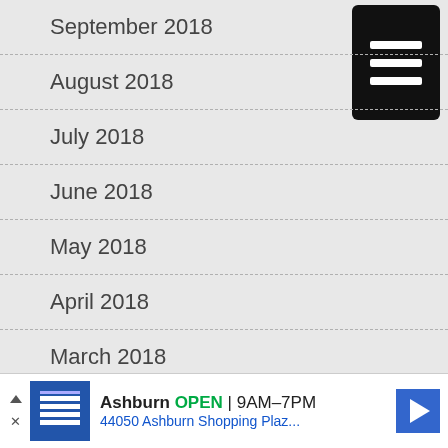September 2018
August 2018
July 2018
June 2018
May 2018
April 2018
March 2018
February 2018
[Figure (other): Black hamburger menu button with three white horizontal bars]
Ashburn OPEN 9AM–7PM 44050 Ashburn Shopping Plaz...